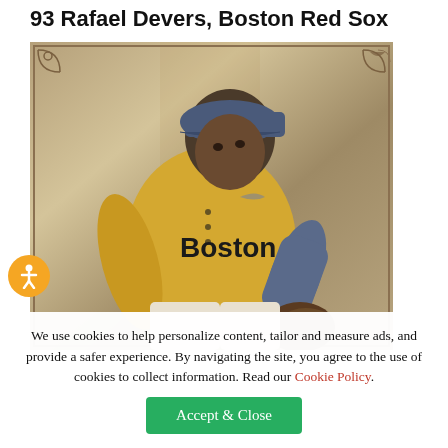93 Rafael Devers, Boston Red Sox
[Figure (photo): Trading card style photo of Rafael Devers in a gold/yellow Boston Red Sox jersey, wearing a blue cap with 'B' logo, fielding position with glove, stylized vintage card border with corner decorations]
We use cookies to help personalize content, tailor and measure ads, and provide a safer experience. By navigating the site, you agree to the use of cookies to collect information. Read our Cookie Policy.
Accept & Close